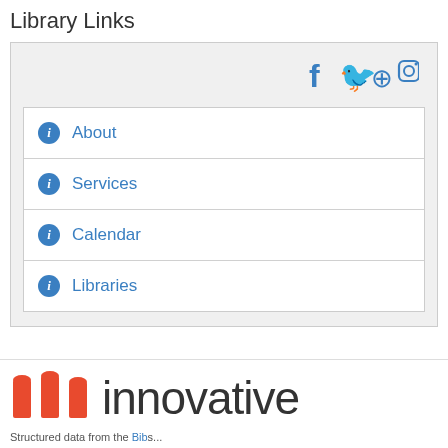Library Links
About
Services
Calendar
Libraries
[Figure (logo): Innovative logo with three red vertical bars and the word 'innovative' in dark gray]
Structured data from the BIbs...